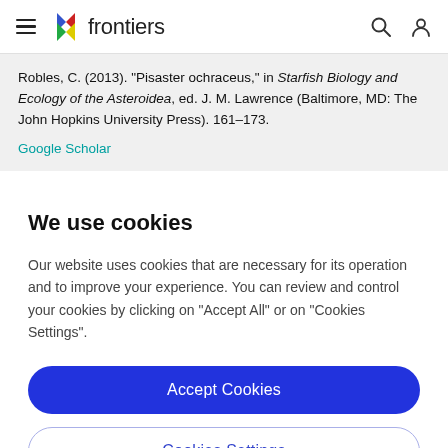frontiers
Robles, C. (2013). "Pisaster ochraceus," in Starfish Biology and Ecology of the Asteroidea, ed. J. M. Lawrence (Baltimore, MD: The John Hopkins University Press). 161–173.
Google Scholar
We use cookies
Our website uses cookies that are necessary for its operation and to improve your experience. You can review and control your cookies by clicking on "Accept All" or on "Cookies Settings".
Accept Cookies
Cookies Settings